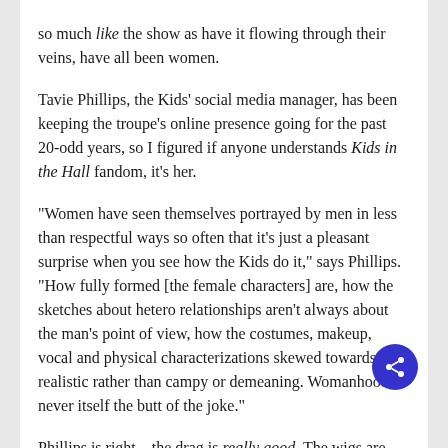so much like the show as have it flowing through their veins, have all been women.
Tavie Phillips, the Kids' social media manager, has been keeping the troupe's online presence going for the past 20-odd years, so I figured if anyone understands Kids in the Hall fandom, it's her.
“Women have seen themselves portrayed by men in less than respectful ways so often that it’s just a pleasant surprise when you see how the Kids do it,” says Phillips. “How fully formed [the female characters] are, how the sketches about hetero relationships aren’t always about the man’s point of view, how the costumes, makeup, vocal and physical characterizations skewed towards realistic rather than campy or demeaning. Womanhood is never itself the butt of the joke.”
Phillips is right—the drag is really good. The wigs are well manicured, the fake breasts are proportionate, and the early ’90s fashion on display in the show is très chic.